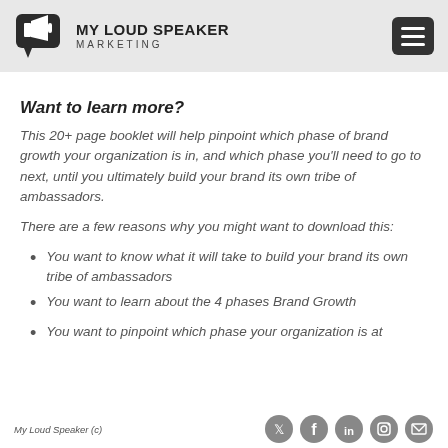MY LOUD SPEAKER MARKETING
Want to learn more?
This 20+ page booklet will help pinpoint which phase of brand growth your organization is in, and which phase you'll need to go to next, until you ultimately build your brand its own tribe of ambassadors.
There are a few reasons why you might want to download this:
You want to know what it will take to build your brand its own tribe of ambassadors
You want to learn about the 4 phases Brand Growth
You want to pinpoint which phase your organization is at
My Loud Speaker (c)